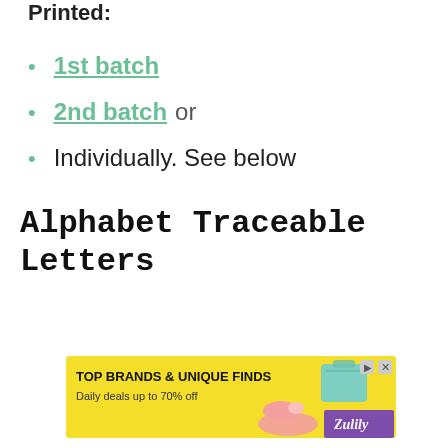Printed:
1st batch
2nd batch or
Individually. See below
Alphabet Traceable Letters
[Figure (other): Advertisement banner for Zulily: TOP BRANDS & UNIQUE FINDS, Daily deals up to 70% off, with images of shoes and a bag, yellow background with purple Zulily logo]